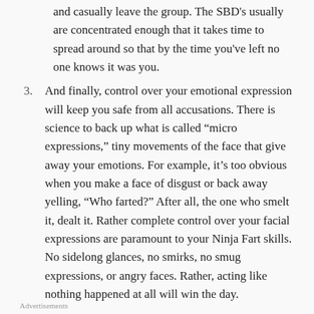and casually leave the group. The SBD's usually are concentrated enough that it takes time to spread around so that by the time you've left no one knows it was you.
And finally, control over your emotional expression will keep you safe from all accusations. There is science to back up what is called “micro expressions,” tiny movements of the face that give away your emotions. For example, it’s too obvious when you make a face of disgust or back away yelling, “Who farted?” After all, the one who smelt it, dealt it. Rather complete control over your facial expressions are paramount to your Ninja Fart skills. No sidelong glances, no smirks, no smug expressions, or angry faces. Rather, acting like nothing happened at all will win the day.
Advertisements